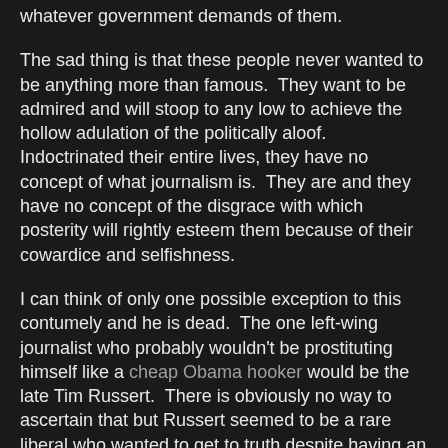whatever government demands of them.
The sad thing is that these people never wanted to be anything more than famous.  They want to be admired and will stoop to any low to achieve the hollow adulation of the politically aloof.  Indoctrinated their entire lives, they have no concept of what journalism is.  They are and they have no concept of the disgrace with which posterity will rightly esteem them because of their cowardice and selfishness.
I can think of only one possible exception to this contumely and he is dead.  The one left-wing journalist who probably wouldn't be prostituting himself like a cheap Obama hooker would be the late Tim Russert.  There is obviously no way to ascertain that but Russert seemed to be a rare liberal who wanted to get to truth despite having an askew interpretation of human nature.  Unlike the litany of imposters I previously enumerated, I do not believe that Russert would have been willing to outright lie and conceal evidence about the Obama regime's deliberate sabotage, subterfuge and probable treason.  I wish Russert was still hosting Meet the Press because there would be at least a chance of these assaults